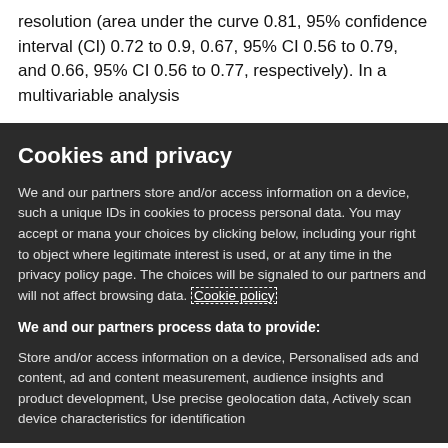resolution (area under the curve 0.81, 95% confidence interval (CI) 0.72 to 0.9, 0.67, 95% CI 0.56 to 0.79, and 0.66, 95% CI 0.56 to 0.77, respectively). In a multivariable analysis
Cookies and privacy
We and our partners store and/or access information on a device, such a unique IDs in cookies to process personal data. You may accept or mana your choices by clicking below, including your right to object where legitimate interest is used, or at any time in the privacy policy page. The choices will be signaled to our partners and will not affect browsing data. Cookie policy
We and our partners process data to provide:
Store and/or access information on a device, Personalised ads and content, ad and content measurement, audience insights and product development, Use precise geolocation data, Actively scan device characteristics for identification
List of Partners (vendors)
I Accept